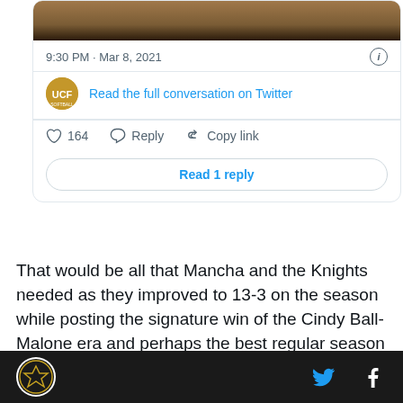[Figure (screenshot): Partial tweet card showing a baseball/softball image at top, timestamp '9:30 PM · Mar 8, 2021', UCF Softball avatar with 'Read the full conversation on Twitter' link, action bar with heart (164), reply, and copy link icons, and 'Read 1 reply' button]
That would be all that Mancha and the Knights needed as they improved to 13-3 on the season while posting the signature win of the Cindy Ball-Malone era and perhaps the best regular season win in the 15 years of the UCF Softball Complex. We will break that down
Footer with site logo and social icons (Twitter, Facebook)